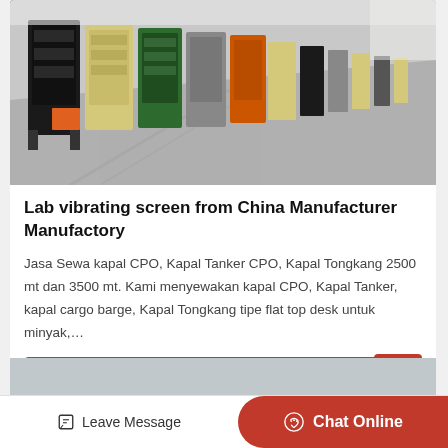[Figure (photo): Industrial vibrating screen machines lined up in a factory/warehouse, multiple units visible in a row on a concrete floor]
Lab vibrating screen from China Manufacturer Manufactory
Jasa Sewa kapal CPO, Kapal Tanker CPO, Kapal Tongkang 2500 mt dan 3500 mt. Kami menyewakan kapal CPO, Kapal Tanker, kapal cargo barge, Kapal Tongkang tipe flat top desk untuk minyak,…
Get Price
[Figure (photo): Partially visible next product card image preview]
Leave Message
Chat Online